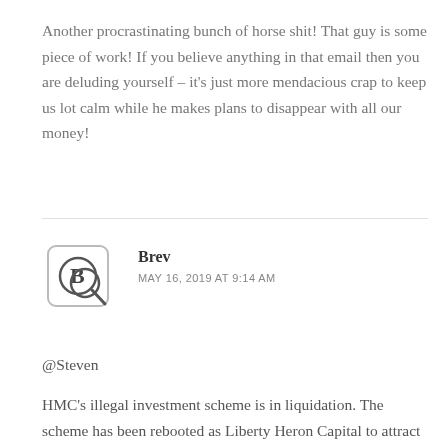Another procrastinating bunch of horse shit! That guy is some piece of work! If you believe anything in that email then you are deluding yourself – it's just more mendacious crap to keep us lot calm while he makes plans to disappear with all our money!
Brev
MAY 16, 2019 AT 9:14 AM
@Steven
HMC's illegal investment scheme is in liquidation. The scheme has been rebooted as Liberty Heron Capital to attract fresh funds from...